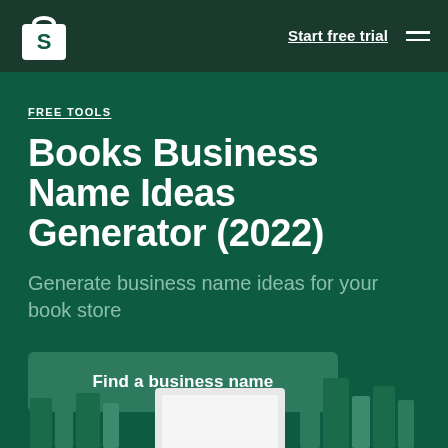[Figure (logo): Shopify logo — white shopping bag with 'S' on dark green navbar background]
Start free trial
FREE TOOLS
Books Business Name Ideas Generator (2022)
Generate business name ideas for your book store
Find a business name
[Figure (illustration): Bottom decorative illustration showing stylized books/shelves in shades of green and teal]